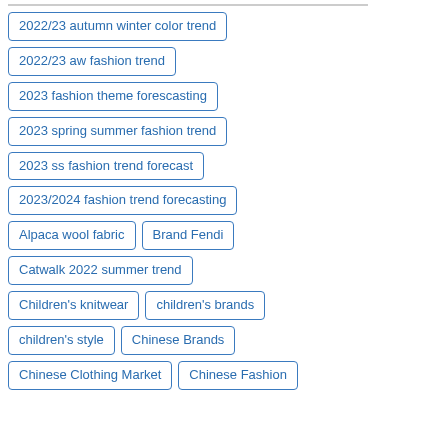2022/23 autumn winter color trend
2022/23 aw fashion trend
2023 fashion theme forescasting
2023 spring summer fashion trend
2023 ss fashion trend forecast
2023/2024 fashion trend forecasting
Alpaca wool fabric
Brand Fendi
Catwalk 2022 summer trend
Children's knitwear
children's brands
children's style
Chinese Brands
Chinese Clothing Market
Chinese Fashion